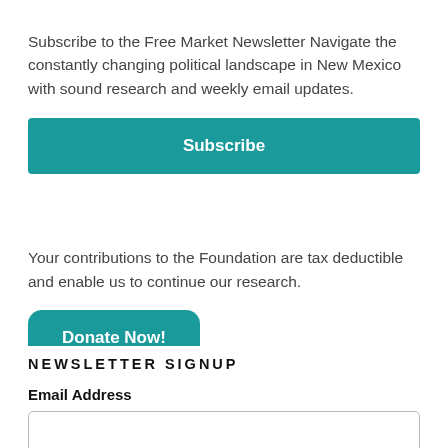× (close button)
Subscribe to the Free Market Newsletter Navigate the constantly changing political landscape in New Mexico with sound research and weekly email updates.
Subscribe
Your contributions to the Foundation are tax deductible and enable us to continue our research.
Donate Now!
NEWSLETTER SIGNUP
Email Address